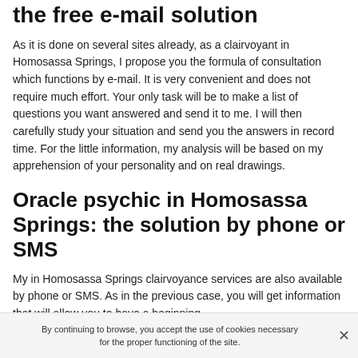the free e-mail solution
As it is done on several sites already, as a clairvoyant in Homosassa Springs, I propose you the formula of consultation which functions by e-mail. It is very convenient and does not require much effort. Your only task will be to make a list of questions you want answered and send it to me. I will then carefully study your situation and send you the answers in record time. For the little information, my analysis will be based on my apprehension of your personality and on real drawings.
Oracle psychic in Homosassa Springs: the solution by phone or SMS
My in Homosassa Springs clairvoyance services are also available by phone or SMS. As in the previous case, you will get information that will allow you to have a beginning
By continuing to browse, you accept the use of cookies necessary for the proper functioning of the site.